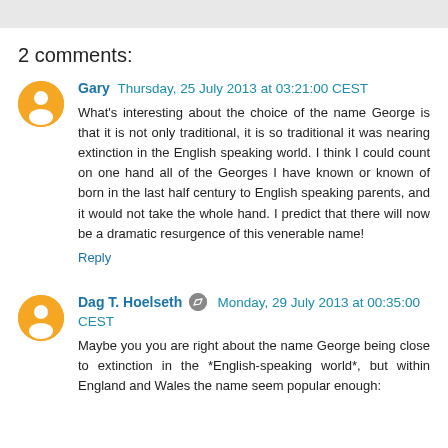2 comments:
Gary Thursday, 25 July 2013 at 03:21:00 CEST
What's interesting about the choice of the name George is that it is not only traditional, it is so traditional it was nearing extinction in the English speaking world. I think I could count on one hand all of the Georges I have known or known of born in the last half century to English speaking parents, and it would not take the whole hand. I predict that there will now be a dramatic resurgence of this venerable name!
Reply
Dag T. Hoelseth Monday, 29 July 2013 at 00:35:00 CEST
Maybe you you are right about the name George being close to extinction in the *English-speaking world*, but within England and Wales the name seem popular enough: